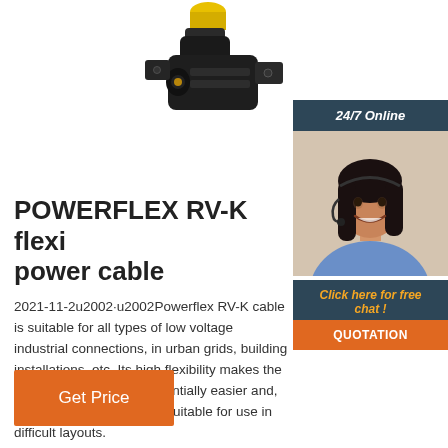[Figure (photo): Photo of a POWERFLEX RV-K flexible power cable connector/plug, black plastic housing with gold pin, partially connected]
[Figure (photo): 24/7 Online support sidebar showing a smiling female customer service representative wearing a headset, with 'Click here for free chat!' and 'QUOTATION' button]
POWERFLEX RV-K flexi power cable
2021-11-2u2002·u2002Powerflex RV-K cable is suitable for all types of low voltage industrial connections, in urban grids, building installations, etc. Its high flexibility makes the installation process substantially easier and, as a result, is particularly suitable for use in difficult layouts.
Get Price